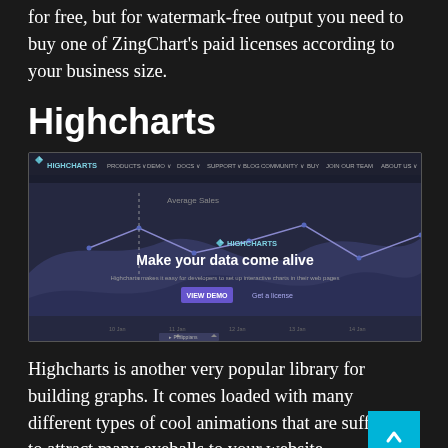for free, but for watermark-free output you need to buy one of ZingChart's paid licenses according to your business size.
Highcharts
[Figure (screenshot): Highcharts website screenshot showing navigation bar with PRODUCTS, DEMO, DOCS, SUPPORT, BLOG, COMMUNITY, BUY, JOIN OUR TEAM, ABOUT US. Hero section with area/line chart in background, HIGHCHARTS logo, headline 'Make your data come alive', subtext 'Highcharts makes it easy for developers to set up interactive charts in their web pages', and buttons 'VIEW DEMO' and 'Get a license'.]
Highcharts is another very popular library for building graphs. It comes loaded with many different types of cool animations that are sufficient to attract many eyeballs to your website